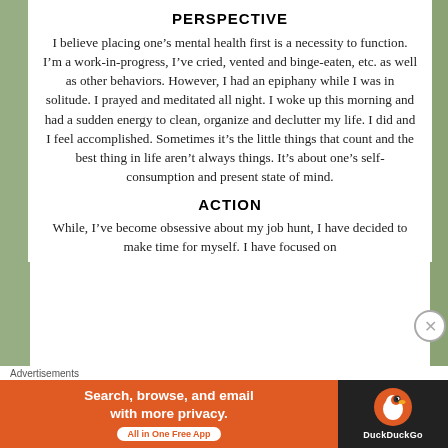PERSPECTIVE
I believe placing one’s mental health first is a necessity to function. I’m a work-in-progress, I’ve cried, vented and binge-eaten, etc. as well as other behaviors. However, I had an epiphany while I was in solitude. I prayed and meditated all night. I woke up this morning and had a sudden energy to clean, organize and declutter my life. I did and I feel accomplished. Sometimes it’s the little things that count and the best thing in life aren’t always things. It’s about one’s self-consumption and present state of mind.
ACTION
While, I’ve become obsessive about my job hunt, I have decided to make time for myself. I have focused on
Advertisements
[Figure (other): DuckDuckGo advertisement banner: orange background with text 'Search, browse, and email with more privacy. All in One Free App' and DuckDuckGo logo on dark background]